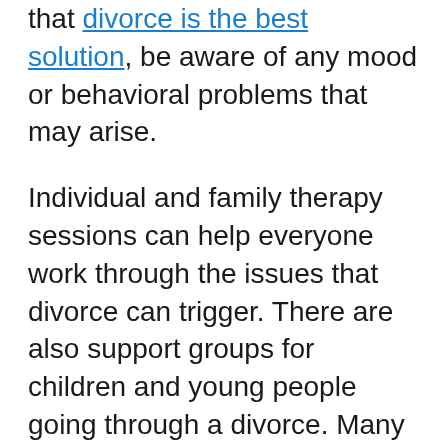that divorce is the best solution, be aware of any mood or behavioral problems that may arise.
Individual and family therapy sessions can help everyone work through the issues that divorce can trigger. There are also support groups for children and young people going through a divorce. Many times, children benefit from talking to children who are going through the same situation. Look to see the resources available in your area that may help your child.
As you and your child go through a divorce it's important to remember that everyone is in it together. Constantly supporting one another and looking for how divorce is